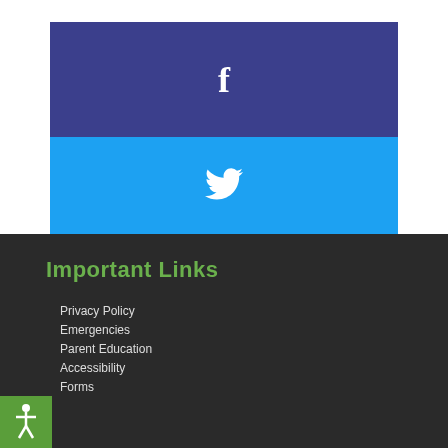[Figure (other): Facebook social media button - dark blue/indigo rectangle with white Facebook 'f' icon]
[Figure (other): Twitter social media button - bright blue rectangle with white Twitter bird icon]
Important Links
Privacy Policy
Emergencies
Parent Education
Accessibility
Forms